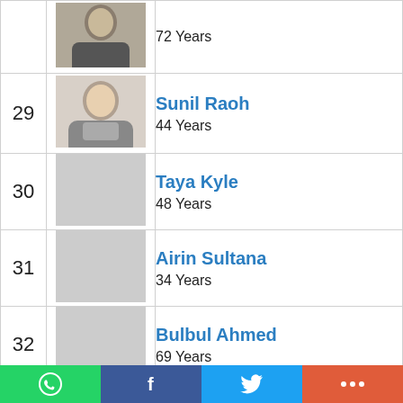| # | Photo | Name / Age |
| --- | --- | --- |
| (28) | (photo) | 72 Years |
| 29 | (photo: Sunil Raoh) | Sunil Raoh
44 Years |
| 30 |  | Taya Kyle
48 Years |
| 31 |  | Airin Sultana
34 Years |
| 32 |  | Bulbul Ahmed
69 Years |
| 33 |  | Adrienne Maloof
61 Years |
[Figure (infographic): Social share bar with WhatsApp (green), Facebook (dark blue), Twitter (light blue), and More/Plus (orange-red) buttons]